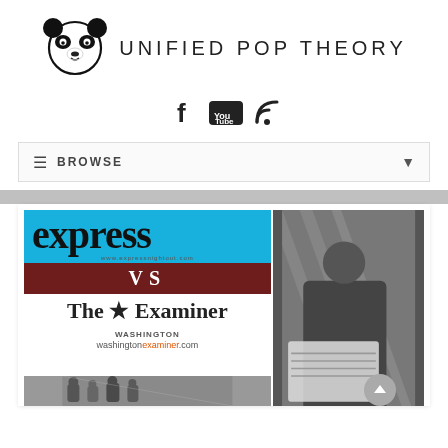[Figure (logo): Panda face logo for Unified Pop Theory website]
UNIFIED POP THEORY
[Figure (infographic): Social media icons: Facebook, YouTube, RSS feed]
≡ BROWSE ▼
[Figure (photo): Composite image showing Express newspaper logo vs Washington Examiner newspaper logo, with photo of person reading newspaper on right side]